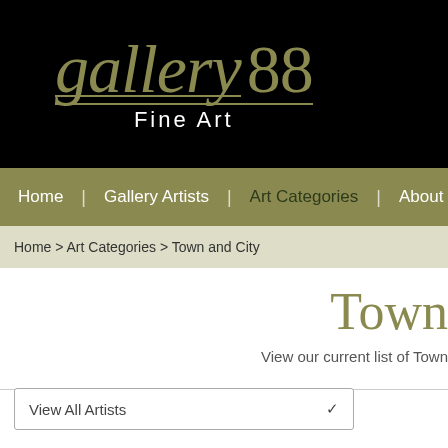[Figure (logo): Gallery 88 Fine Art logo — white and olive/tan text on black background]
Home | Gallery Artists | Art Categories | About Us
Home > Art Categories > Town and City
Town
View our current list of Town
View All Artists